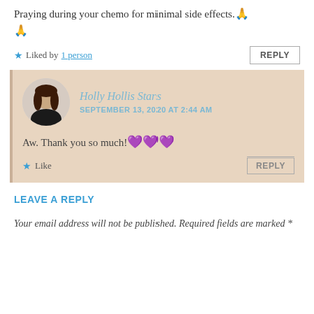Praying during your chemo for minimal side effects.🙏🙏
★ Liked by 1 person
Holly Hollis Stars
SEPTEMBER 13, 2020 AT 2:44 AM
Aw. Thank you so much!💜💜💜
★ Like
LEAVE A REPLY
Your email address will not be published. Required fields are marked *